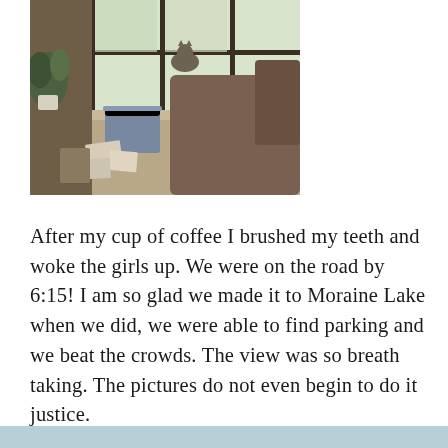[Figure (photo): Indoor scene with a cat sitting on a windowsill looking out large windows, plants in foreground, a blue storage bin and couch visible, warm natural light]
After my cup of coffee I brushed my teeth and woke the girls up. We were on the road by 6:15! I am so glad we made it to Moraine Lake when we did, we were able to find parking and we beat the crowds. The view was so breath taking. The pictures do not even begin to do it justice.
[Figure (photo): Partial view of a light blue scene or image at the bottom of the page]